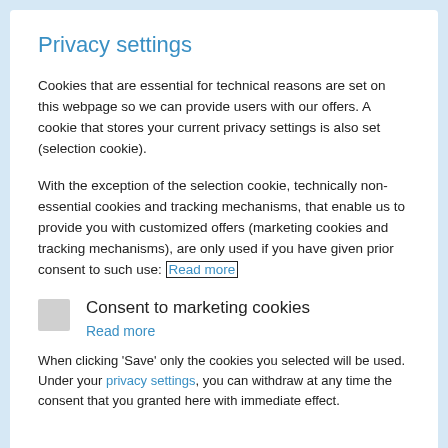Privacy settings
Cookies that are essential for technical reasons are set on this webpage so we can provide users with our offers. A cookie that stores your current privacy settings is also set (selection cookie).
With the exception of the selection cookie, technically non-essential cookies and tracking mechanisms, that enable us to provide you with customized offers (marketing cookies and tracking mechanisms), are only used if you have given prior consent to such use: Read more
Consent to marketing cookies
Read more
When clicking 'Save' only the cookies you selected will be used. Under your privacy settings, you can withdraw at any time the consent that you granted here with immediate effect.